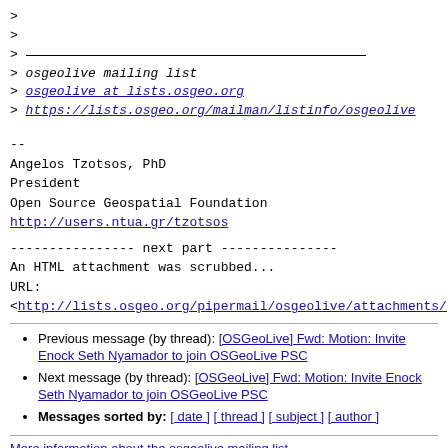>
>
>
> osgeolive mailing list
> osgeolive at lists.osgeo.org
> https://lists.osgeo.org/mailman/listinfo/osgeolive
--
Angelos Tzotsos, PhD
President
Open Source Geospatial Foundation
http://users.ntua.gr/tzotsos
---------------- next part ---------------
An HTML attachment was scrubbed...
URL:
<http://lists.osgeo.org/pipermail/osgeolive/attachments/...
Previous message (by thread): [OSGeoLive] Fwd: Motion: Invite Enock Seth Nyamador to join OSGeoLive PSC
Next message (by thread): [OSGeoLive] Fwd: Motion: Invite Enock Seth Nyamador to join OSGeoLive PSC
Messages sorted by: [ date ] [ thread ] [ subject ] [ author ]
More information about the osgeolive mailing list